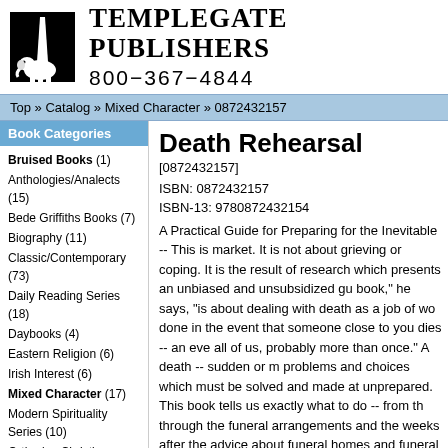[Figure (logo): Templegate Publishers logo with elephant and obelisk on black background]
Templegate Publishers
800-367-4844
Top » Catalog » Mixed Character » 0872432157
Book Categories
Bruised Books (1)
Anthologies/Analects (15)
Bede Griffiths Books (7)
Biography (11)
Classic/Contemporary (73)
Daily Reading Series (18)
Daybooks (4)
Eastern Religion (6)
Irish Interest (6)
Mixed Character (17)
Modern Spirituality Series (10)
Orthodox Christian Spirituality (13)
Public Library Series (4)
Authors
Death Rehearsal
[0872432157]
ISBN: 0872432157
ISBN-13: 9780872432154
A Practical Guide for Preparing for the Inevitable -- This is market. It is not about grieving or coping. It is the result of research which presents an unbiased and unsubsidized gu book," he says, "is about dealing with death as a job of wo done in the event that someone close to you dies -- an eve all of us, probably more than once." A death -- sudden or m problems and choices which must be solved and made at unprepared. This book tells us exactly what to do -- from th through the funeral arrangements and the weeks after the advice about funeral homes and funeral directors, federal a arrangements, caskets, organ donation, embalming, crema required, obituary notices, wills and memorial societies. It